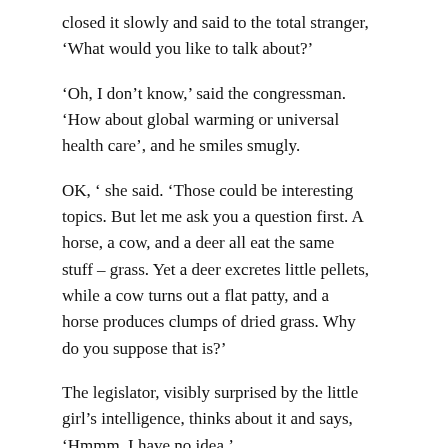closed it slowly and said to the total stranger, 'What would you like to talk about?'
'Oh, I don't know,' said the congressman. 'How about global warming or universal health care', and he smiles smugly.
OK, ' she said. 'Those could be interesting topics. But let me ask you a question first. A horse, a cow, and a deer all eat the same stuff – grass. Yet a deer excretes little pellets, while a cow turns out a flat patty, and a horse produces clumps of dried grass. Why do you suppose that is?'
The legislator, visibly surprised by the little girl's intelligence, thinks about it and says, 'Hmmm, I have no idea.'